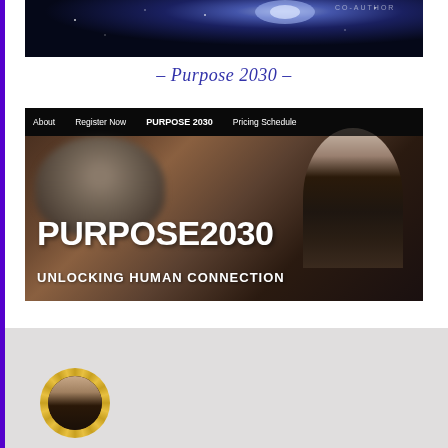[Figure (screenshot): Top banner image with dark space/cosmic background, partially cropped at top]
- Purpose 2030 -
[Figure (screenshot): Screenshot of Purpose 2030 website showing navigation bar with About, Register Now, PURPOSE 2030, Pricing Schedule links, and two people in background with large text PURPOSE2030 and UNLOCKING HUMAN CONNECTION]
[Figure (photo): Bottom grey section showing the beginning of a profile or author section with a circular medal/badge with a person's silhouette]